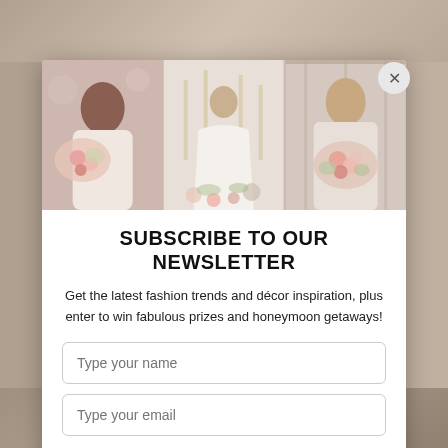[Figure (photo): Three wedding/bridal photos side by side: left shows a Black woman smiling holding a floral bouquet, center shows a bride from behind in a white gown near candles and flowers, right shows an Asian woman holding flowers.]
SUBSCRIBE TO OUR NEWSLETTER
Get the latest fashion trends and décor inspiration, plus enter to win fabulous prizes and honeymoon getaways!
Type your name
Type your email
SUBMIT